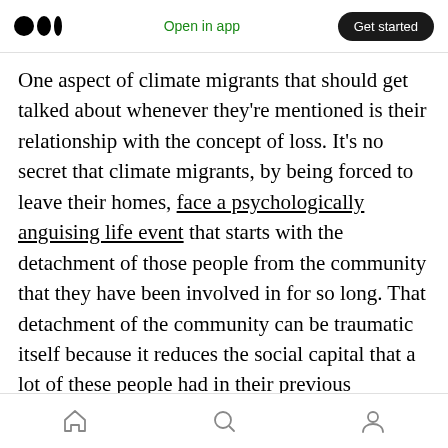Medium logo | Open in app | Get started
One aspect of climate migrants that should get talked about whenever they're mentioned is their relationship with the concept of loss. It's no secret that climate migrants, by being forced to leave their homes, face a psychologically anguising life event that starts with the detachment of those people from the community that they have been involved in for so long. That detachment of the community can be traumatic itself because it reduces the social capital that a lot of these people had in their previous neighborhoods or countries, and it forces those
Home | Search | Profile